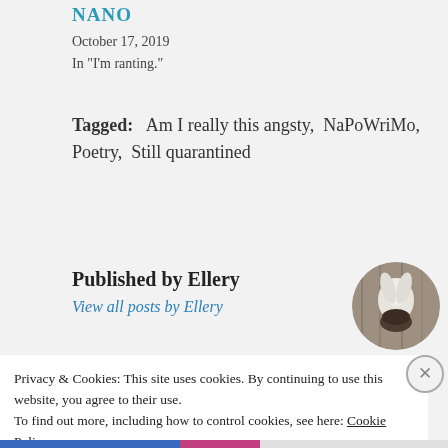NANO
October 17, 2019
In "I'm ranting."
Tagged:   Am I really this angsty,  NaPoWriMo,  Poetry,  Still quarantined
Published by Ellery
View all posts by Ellery
[Figure (photo): Circular avatar photo of a bird or animal with white feathers against a wooden background]
Privacy & Cookies: This site uses cookies. By continuing to use this website, you agree to their use.
To find out more, including how to control cookies, see here: Cookie Policy
Close and accept